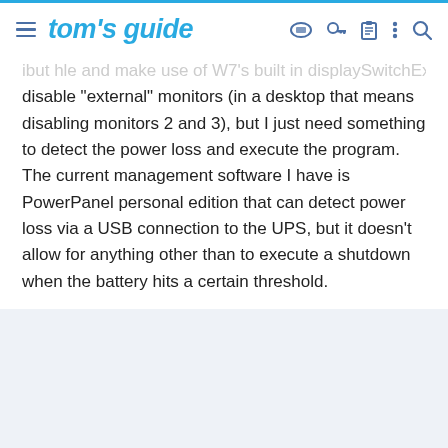tom's guide
ibut hle and make use of W7's built in displaySwitchEx program to disable "external" monitors (in a desktop that means disabling monitors 2 and 3), but I just need something to detect the power loss and execute the program. The current management software I have is PowerPanel personal edition that can detect power loss via a USB connection to the UPS, but it doesn't allow for anything other than to execute a shutdown when the battery hits a certain threshold.